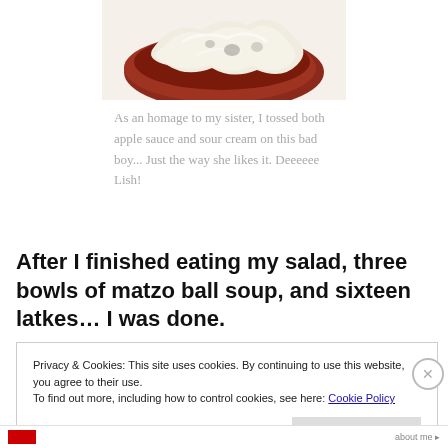[Figure (photo): Close-up photo of a latke (potato pancake) topped with melted cheese and sauce on a white plate, cropped at top]
As an homage to my sister, I tossed both apple sauce and sour cream on this bad boy... Just the way she likes it. Deeeeee Lish!
After I finished eating my salad, three bowls of matzo ball soup, and sixteen latkes… I was done.
Privacy & Cookies: This site uses cookies. By continuing to use this website, you agree to their use.
To find out more, including how to control cookies, see here: Cookie Policy
Close and accept